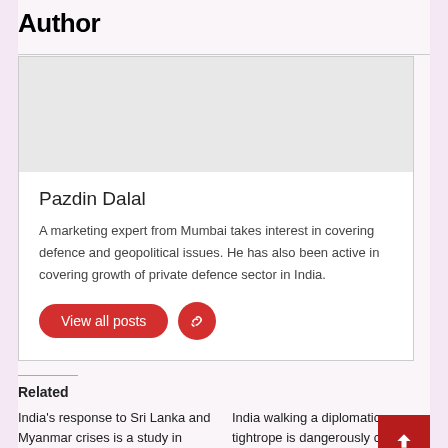Author
Pazdin Dalal
A marketing expert from Mumbai takes interest in covering defence and geopolitical issues. He has also been active in covering growth of private defence sector in India.
View all posts
Related
India's response to Sri Lanka and Myanmar crises is a study in contrast. It shouldn't be
India walking a diplomatic tightrope is dangerously close to recognising the Myanmar coup